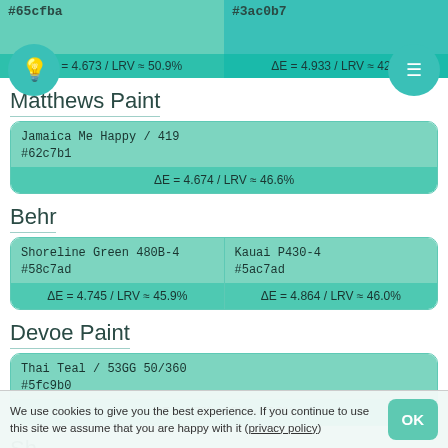[Figure (other): Two color swatches: #65cfba (left) with ΔE = 4.673 / LRV ≈ 50.9% and #3ac0b7 (right) with ΔE = 4.933 / LRV ≈ 42.0%, with bulb and menu circle icons]
Matthews Paint
| Jamaica Me Happy / 419 | #62c7b1 | ΔE = 4.674 / LRV ≈ 46.6% |
Behr
| Shoreline Green 480B-4 | #58c7ad | ΔE = 4.745 / LRV ≈ 45.9% |
| Kauai P430-4 | #5ac7ad | ΔE = 4.864 / LRV ≈ 46.0% |
Devoe Paint
| Thai Teal / 53GG 50/360 | #5fc9b0 | ΔE = 4.780 / LRV ≈ 47.3% |
Sherwin-Williams (partial)
We use cookies to give you the best experience. If you continue to use this site we assume that you are happy with it (privacy policy)